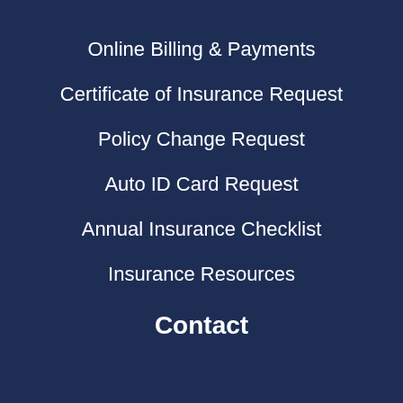Online Billing & Payments
Certificate of Insurance Request
Policy Change Request
Auto ID Card Request
Annual Insurance Checklist
Insurance Resources
Contact